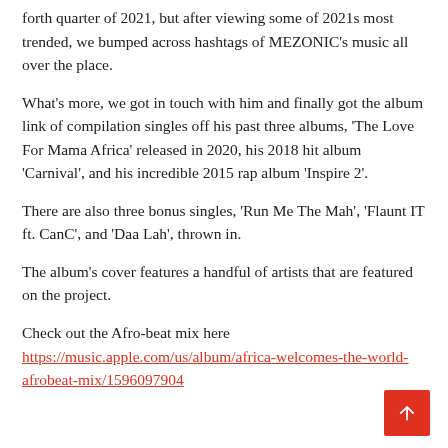forth quarter of 2021, but after viewing some of 2021s most trended, we bumped across hashtags of MEZONIC's music all over the place.
What's more, we got in touch with him and finally got the album link of compilation singles off his past three albums, 'The Love For Mama Africa' released in 2020, his 2018 hit album 'Carnival', and his incredible 2015 rap album 'Inspire 2'.
There are also three bonus singles, 'Run Me The Mah', 'Flaunt IT ft. CanC', and 'Daa Lah', thrown in.
The album's cover features a handful of artists that are featured on the project.
Check out the Afro-beat mix here https://music.apple.com/us/album/africa-welcomes-the-world-afrobeat-mix/1596097904